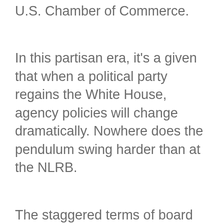U.S. Chamber of Commerce.
In this partisan era, it’s a given that when a political party regains the White House, agency policies will change dramatically. Nowhere does the pendulum swing harder than at the NLRB.
The staggered terms of board members slow the changing of the guard a bit; that’s why President Donald Trump didn’t gain control of the NLRB until eight months into his presidency. The NLRB’s quasi-judicial role further complicates the timing of policy shifts.